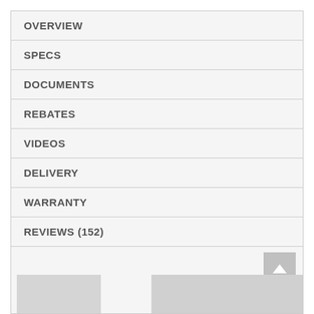OVERVIEW
SPECS
DOCUMENTS
REBATES
VIDEOS
DELIVERY
WARRANTY
REVIEWS (152)
[Figure (photo): Bottom section with scroll-to-top button and partial product images]